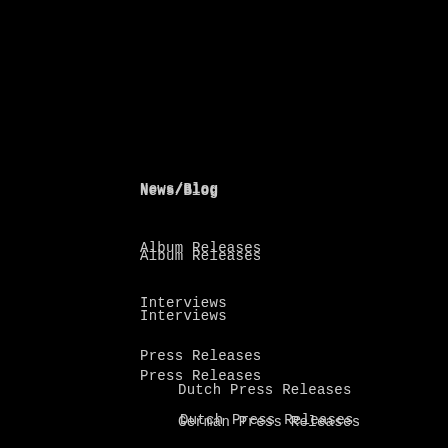News/Blog
Album Releases
Interviews
Press Releases
Dutch Press Releases
German Press Releases
Reviews
Recensies NL
Uncategorized
Website